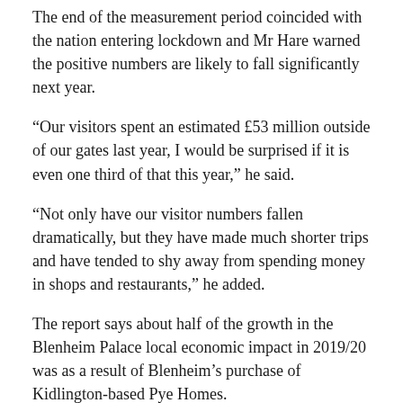The end of the measurement period coincided with the nation entering lockdown and Mr Hare warned the positive numbers are likely to fall significantly next year.
“Our visitors spent an estimated £53 million outside of our gates last year, I would be surprised if it is even one third of that this year,” he said.
“Not only have our visitor numbers fallen dramatically, but they have made much shorter trips and have tended to shy away from spending money in shops and restaurants,” he added.
The report says about half of the growth in the Blenheim Palace local economic impact in 2019/20 was as a result of Blenheim’s purchase of Kidlington-based Pye Homes.